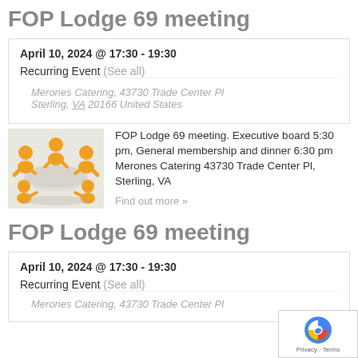FOP Lodge 69 meeting
April 10, 2024 @ 17:30 - 19:30
Recurring Event (See all)
Merones Catering, 43730 Trade Center Pl Sterling, VA 20166 United States
[Figure (illustration): Orange cartoon figures sitting around a round table in a meeting]
FOP Lodge 69 meeting. Executive board 5:30 pm, General membership and dinner 6:30 pm Merones Catering 43730 Trade Center Pl, Sterling, VA
Find out more »
FOP Lodge 69 meeting
April 10, 2024 @ 17:30 - 19:30
Recurring Event (See all)
Merones Catering, 43730 Trade Center Pl